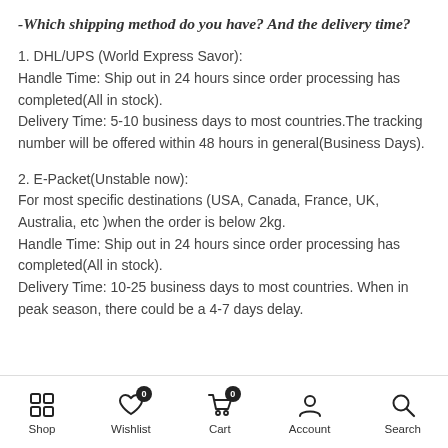-Which shipping method do you have? And the delivery time?
1. DHL/UPS (World Express Savor):
Handle Time: Ship out in 24 hours since order processing has completed(All in stock).
Delivery Time: 5-10 business days to most countries.The tracking number will be offered within 48 hours in general(Business Days).
2. E-Packet(Unstable now):
For most specific destinations (USA, Canada, France, UK, Australia, etc )when the order is below 2kg.
Handle Time: Ship out in 24 hours since order processing has completed(All in stock).
Delivery Time: 10-25 business days to most countries. When in peak season, there could be a 4-7 days delay.
Shop  Wishlist 0  Cart 0  Account  Search